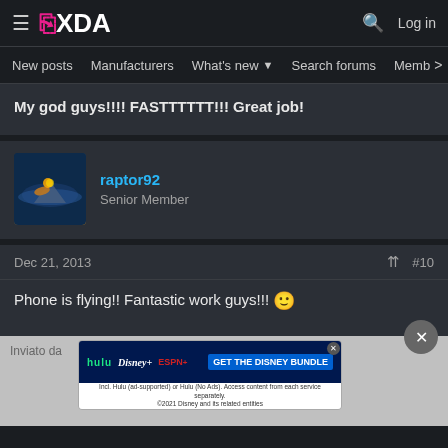XDA Forums header with navigation: New posts, Manufacturers, What's new, Search forums, Members
My god guys!!!! FASTTTTTT!!! Great job!
raptor92
Senior Member
Dec 21, 2013  #10
Phone is flying!! Fantastic work guys!!! 🙂
Inviato da
[Figure (screenshot): Disney Bundle advertisement banner: Hulu, Disney+, ESPN+ logos with GET THE DISNEY BUNDLE button and fine print text]